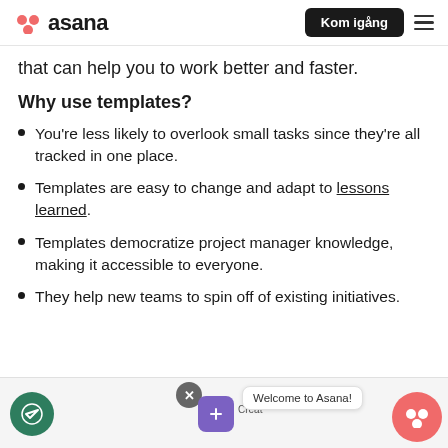Asana — Kom igång
that can help you to work better and faster.
Why use templates?
You're less likely to overlook small tasks since they're all tracked in one place.
Templates are easy to change and adapt to lessons learned.
Templates democratize project manager knowledge, making it accessible to everyone.
They help new teams to spin off of existing initiatives.
[Figure (screenshot): Bottom overlay showing Asana UI elements: a green toggle icon, an X close button, a purple Create button, a 'Welcome to Asana!' tooltip, and the Asana red logo in the bottom right corner.]